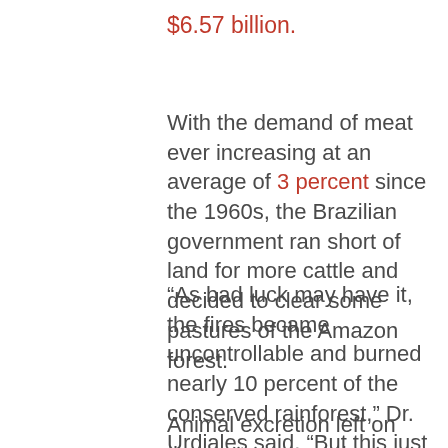$6.57 billion.
With the demand of meat ever increasing at an average of 3 percent since the 1960s, the Brazilian government ran short of land for more cattle and decided to clear some pastures of the Amazon forest.
“As bad luck may have it, the fires became uncontrollable and burned nearly 10 percent of the conserved rainforest,” Dr. Urdiales said. “But this just one kind of land degradation we observe from meat production.”
Animal excretion left on the pastures may have long term damaging impact for the soil. The cow manure left to decay and